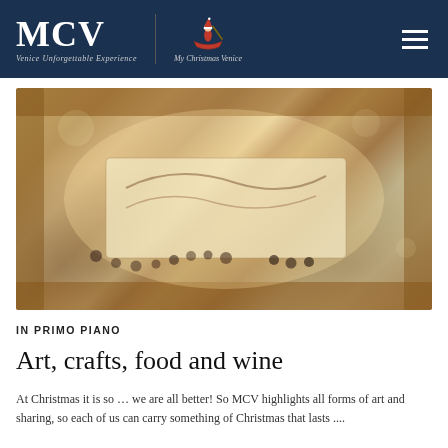MCV Venice Unforgettable Experience / My Christmas Venice
[Figure (photo): Close-up photo of Christmas craft items including decorative cards and beaded ornaments displayed on a wooden tray or frame, with warm bokeh lighting in the background.]
IN PRIMO PIANO
Art, crafts, food and wine
At Christmas it is so … we are all better! So MCV highlights all forms of art and sharing, so each of us can carry something of Christmas that lasts ....